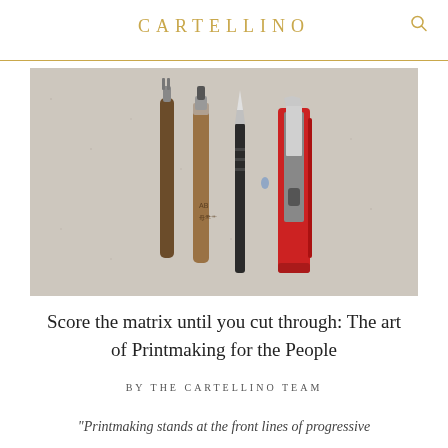CARTELLINO
[Figure (photo): Four printmaking tools laid flat against a light grey textured surface: a brown wooden-handled scoring tool, a wooden-handled chisel/gouge, a black-handled craft knife, and a red box cutter/utility knife]
Score the matrix until you cut through: The art of Printmaking for the People
BY THE CARTELLINO TEAM
“Printmaking stands at the front lines of progressive